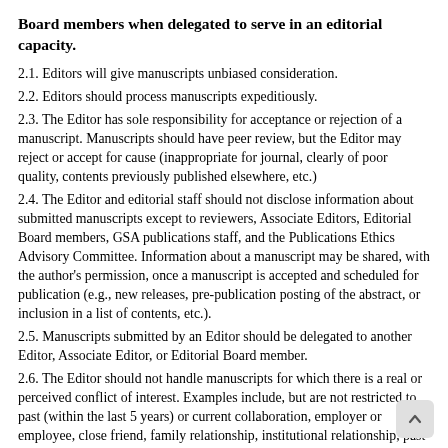Board members when delegated to serve in an editorial capacity.
2.1. Editors will give manuscripts unbiased consideration.
2.2. Editors should process manuscripts expeditiously.
2.3. The Editor has sole responsibility for acceptance or rejection of a manuscript. Manuscripts should have peer review, but the Editor may reject or accept for cause (inappropriate for journal, clearly of poor quality, contents previously published elsewhere, etc.)
2.4. The Editor and editorial staff should not disclose information about submitted manuscripts except to reviewers, Associate Editors, Editorial Board members, GSA publications staff, and the Publications Ethics Advisory Committee. Information about a manuscript may be shared, with the author's permission, once a manuscript is accepted and scheduled for publication (e.g., new releases, pre-publication posting of the abstract, or inclusion in a list of contents, etc.).
2.5. Manuscripts submitted by an Editor should be delegated to another Editor, Associate Editor, or Editorial Board member.
2.6. The Editor should not handle manuscripts for which there is a real or perceived conflict of interest. Examples include, but are not restricted to, past (within the last 5 years) or current collaboration, employer or employee, close friend, family relationship, institutional relationship, past or present graduate advisor or advisee, someone with whom the reviewer has had past or on-going acrimonious relations, or situations where the Editor could stand to gain economically by publication or rejection of the manuscript. Editorial